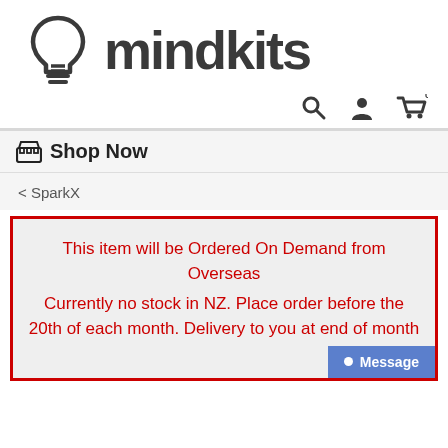[Figure (logo): Mindkits logo: lightbulb icon with the text 'mindkits' in dark gray bold sans-serif font]
Search, Account, Cart (0) icons
🖥 Shop Now
< SparkX
This item will be Ordered On Demand from Overseas
Currently no stock in NZ. Place order before the 20th of each month. Delivery to you at end of month